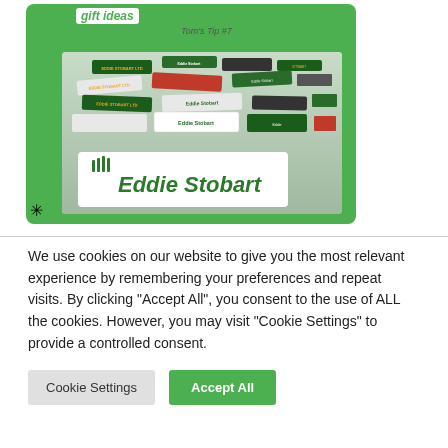[Figure (photo): Green-bordered card showing a pile of Eddie Stobart toy trucks/lorries with 'gift ideas' text and 'Tom's Tip #7' label. The photo shows miniature Eddie Stobart branded trucks with the Eddie Stobart logo sign visible at the bottom.]
We use cookies on our website to give you the most relevant experience by remembering your preferences and repeat visits. By clicking “Accept All”, you consent to the use of ALL the cookies. However, you may visit "Cookie Settings" to provide a controlled consent.
Cookie Settings
Accept All